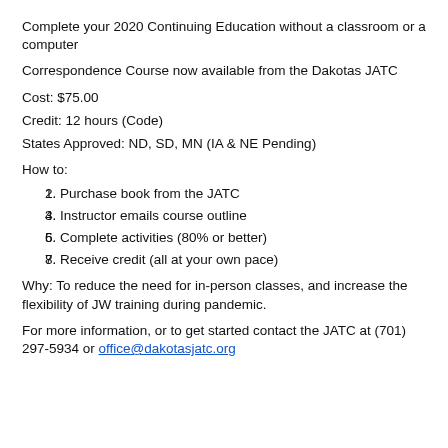Complete your 2020 Continuing Education without a classroom or a computer
Correspondence Course now available from the Dakotas JATC
Cost: $75.00
Credit: 12 hours (Code)
States Approved: ND, SD, MN (IA & NE Pending)
How to:
Purchase book from the JATC
Instructor emails course outline
Complete activities (80% or better)
Receive credit (all at your own pace)
Why: To reduce the need for in-person classes, and increase the flexibility of JW training during pandemic.
For more information, or to get started contact the JATC at (701) 297-5934 or office@dakotasjatc.org